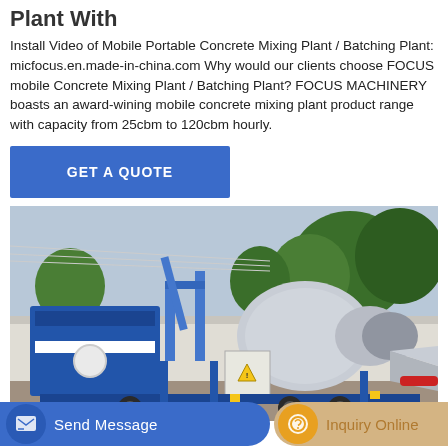Plant With
Install Video of Mobile Portable Concrete Mixing Plant / Batching Plant: micfocus.en.made-in-china.com Why would our clients choose FOCUS mobile Concrete Mixing Plant / Batching Plant? FOCUS MACHINERY boasts an award-wining mobile concrete mixing plant product range with capacity from 25cbm to 120cbm hourly.
[Figure (other): Blue button labeled GET A QUOTE]
[Figure (photo): Photo of a blue mobile portable concrete mixing/batching plant on a trailer, outdoors with trees and a fence in the background]
[Figure (other): Bottom navigation bar with two buttons: Send Message (blue) and Inquiry Online (tan/gold)]